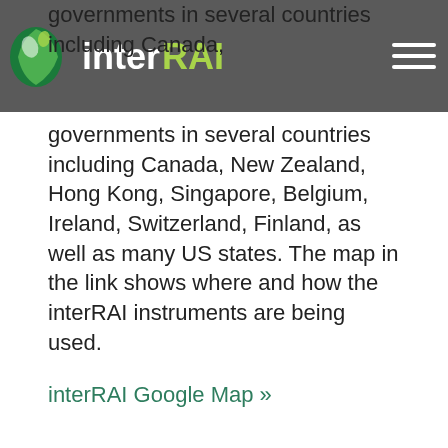interRAI logo and navigation header
governments in several countries including Canada, New Zealand, Hong Kong, Singapore, Belgium, Ireland, Switzerland, Finland, as well as many US states. The map in the link shows where and how the interRAI instruments are being used.
interRAI Google Map »